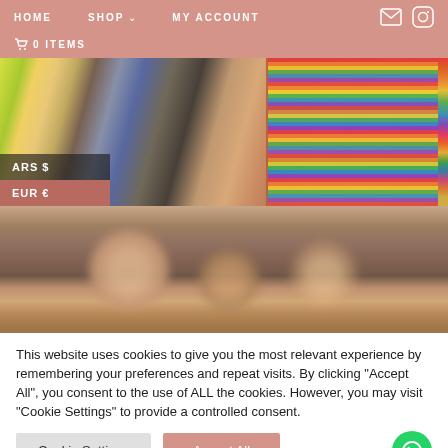HOME   SHOP   MY ACCOUNT   0 ITEMS
[Figure (photo): E-commerce website screenshot showing navigation bar with HOME, SHOP, MY ACCOUNT links, currency selector (ARS $, EUR €), and two hero images of colorful textiles and people at a market.]
This website uses cookies to give you the most relevant experience by remembering your preferences and repeat visits. By clicking "Accept All", you consent to the use of ALL the cookies. However, you may visit "Cookie Settings" to provide a controlled consent.
Cookie Settings   Accept All